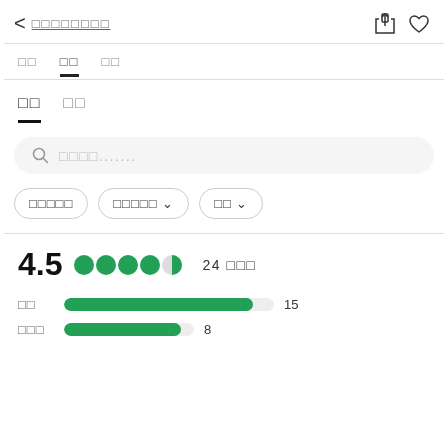< □□□□□□□□
□□  □□  □□
□□  □□
□□□□.......
□□□□□  □□□□□ ∨  □□ ∨
4.5  ●●●●◑  24 □□□
□□  15
□□□  8